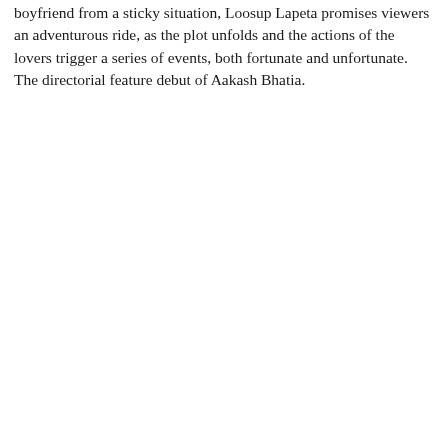boyfriend from a sticky situation, Loosup Lapeta promises viewers an adventurous ride, as the plot unfolds and the actions of the lovers trigger a series of events, both fortunate and unfortunate. The directorial feature debut of Aakash Bhatia.